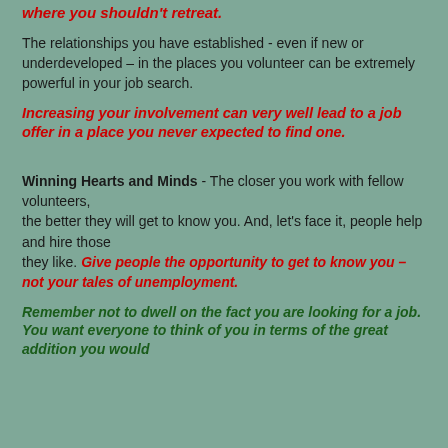where you shouldn't retreat.
The relationships you have established - even if new or underdeveloped – in the places you volunteer can be extremely powerful in your job search.
Increasing your involvement can very well lead to a job offer in a place you never expected to find one.
Winning Hearts and Minds - The closer you work with fellow volunteers, the better they will get to know you. And, let's face it, people help and hire those they like. Give people the opportunity to get to know you – not your tales of unemployment.
Remember not to dwell on the fact you are looking for a job. You want everyone to think of you in terms of the great addition you would